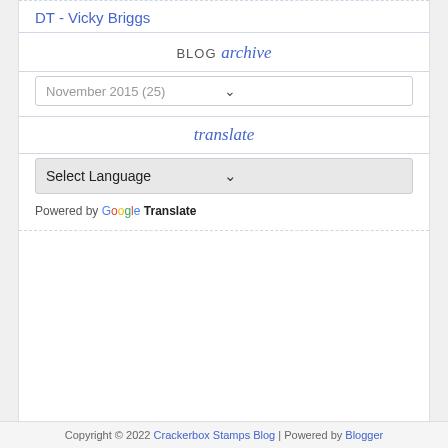DT - Vicky Briggs
BLOG archive
November 2015 (25)
translate
Select Language
Powered by Google Translate
Copyright © 2022 Crackerbox Stamps Blog | Powered by Blogger